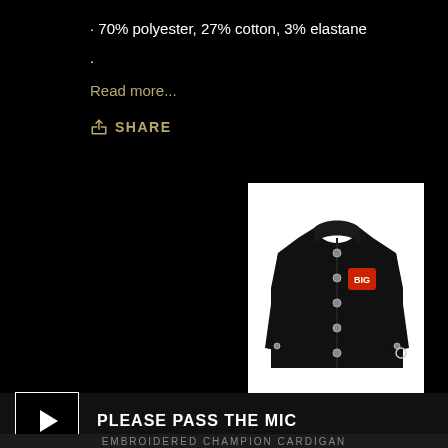· 70% polyester, 27% cotton, 3% elastane
·
Read more...
SHARE
[Figure (photo): Black button-up cardigan jacket with red embroidered logo on chest, displayed on white background]
[Figure (photo): Two thumbnail images of the black cardigan from different angles]
PLEASE PASS THE MIC
EMBROIDERED CHAMPION CARDIGAN